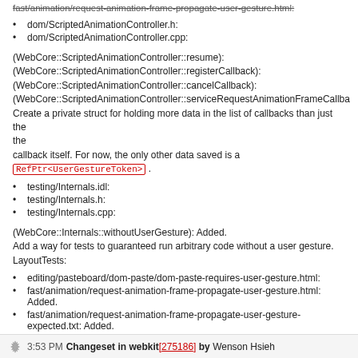fast/animation/request-animation-frame-propagate-user-gesture.html:
dom/ScriptedAnimationController.h:
dom/ScriptedAnimationController.cpp:
(WebCore::ScriptedAnimationController::resume):
(WebCore::ScriptedAnimationController::registerCallback):
(WebCore::ScriptedAnimationController::cancelCallback):
(WebCore::ScriptedAnimationController::serviceRequestAnimationFrameCallba
Create a private struct for holding more data in the list of callbacks than just the
callback itself. For now, the only other data saved is a RefPtr<UserGestureToken>.
testing/Internals.idl:
testing/Internals.h:
testing/Internals.cpp:
(WebCore::Internals::withoutUserGesture): Added.
Add a way for tests to guaranteed run arbitrary code without a user gesture.
LayoutTests:
editing/pasteboard/dom-paste/dom-paste-requires-user-gesture.html:
fast/animation/request-animation-frame-propagate-user-gesture.html: Added.
fast/animation/request-animation-frame-propagate-user-gesture-expected.txt: Added.
3:53 PM Changeset in webkit [275186] by Wenson Hsieh